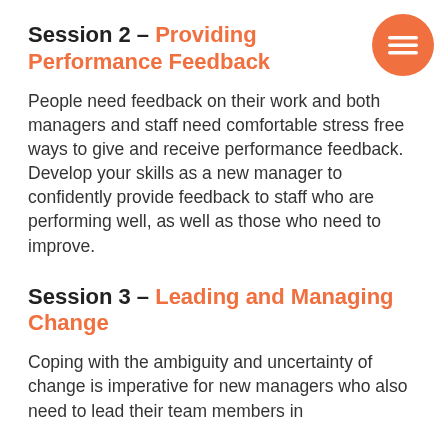Session 2 – Providing Performance Feedback
People need feedback on their work and both managers and staff need comfortable stress free ways to give and receive performance feedback. Develop your skills as a new manager to confidently provide feedback to staff who are performing well, as well as those who need to improve.
Session 3 – Leading and Managing Change
Coping with the ambiguity and uncertainty of change is imperative for new managers who also need to lead their team members in